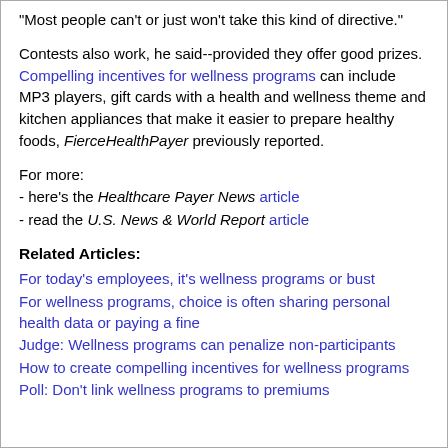"Most people can't or just won't take this kind of directive."
Contests also work, he said--provided they offer good prizes. Compelling incentives for wellness programs can include MP3 players, gift cards with a health and wellness theme and kitchen appliances that make it easier to prepare healthy foods, FierceHealthPayer previously reported.
For more:
- here's the Healthcare Payer News article
- read the U.S. News & World Report article
Related Articles:
For today's employees, it's wellness programs or bust
For wellness programs, choice is often sharing personal health data or paying a fine
Judge: Wellness programs can penalize non-participants
How to create compelling incentives for wellness programs
Poll: Don't link wellness programs to premiums